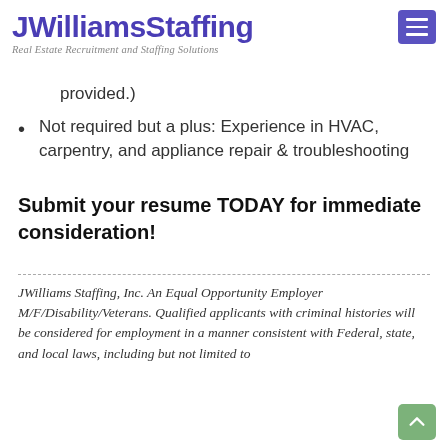JWilliamsStaffing — Real Estate Recruitment and Staffing Solutions
provided.)
Not required but a plus: Experience in HVAC, carpentry, and appliance repair & troubleshooting
Submit your resume TODAY for immediate consideration!
JWilliams Staffing, Inc. An Equal Opportunity Employer M/F/Disability/Veterans. Qualified applicants with criminal histories will be considered for employment in a manner consistent with Federal, state, and local laws, including but not limited to